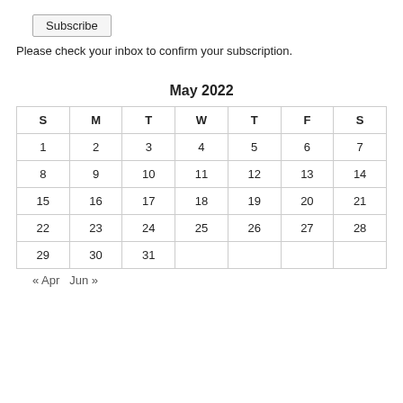Subscribe
Please check your inbox to confirm your subscription.
May 2022
| S | M | T | W | T | F | S |
| --- | --- | --- | --- | --- | --- | --- |
| 1 | 2 | 3 | 4 | 5 | 6 | 7 |
| 8 | 9 | 10 | 11 | 12 | 13 | 14 |
| 15 | 16 | 17 | 18 | 19 | 20 | 21 |
| 22 | 23 | 24 | 25 | 26 | 27 | 28 |
| 29 | 30 | 31 |  |  |  |  |
« Apr   Jun »